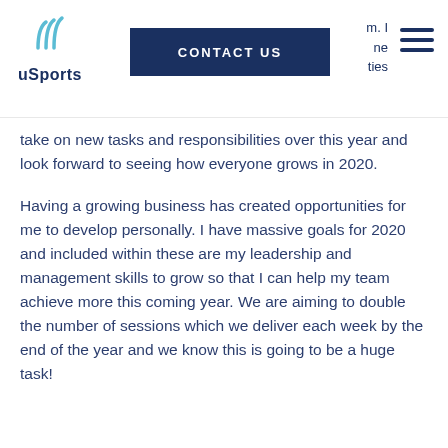uSports | CONTACT US
take on new tasks and responsibilities over this year and look forward to seeing how everyone grows in 2020.
Having a growing business has created opportunities for me to develop personally. I have massive goals for 2020 and included within these are my leadership and management skills to grow so that I can help my team achieve more this coming year. We are aiming to double the number of sessions which we deliver each week by the end of the year and we know this is going to be a huge task!